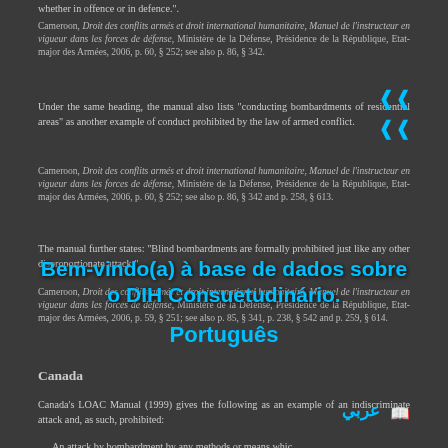whether in offence or in defence.
Cameroon, Droit des conflits armés et droit international humanitaire, Manuel de l'instructeur en vigueur dans les forces de défense, Ministère de la Défense, Présidence de la République, Etat-major des Armées, 2006, p. 60, § 252; see also p. 86, § 342.
Under the same heading, the manual also lists "conducting bombardments of residential areas" as another example of conduct prohibited by the law of armed conflict.
Cameroon, Droit des conflits armés et droit international humanitaire, Manuel de l'instructeur en vigueur dans les forces de défense, Ministère de la Défense, Présidence de la République, Etat-major des Armées, 2006, p. 60, § 252; see also p. 86, § 342 and p. 258, § 613.
The manual further states: "Blind bombardments are formally prohibited just like any other disproportionate attack."
Cameroon, Droit des conflits armés et droit international humanitaire, Manuel de l'instructeur en vigueur dans les forces de défense, Ministère de la Défense, Présidence de la République, Etat-major des Armées, 2006, p. 59, § 251; see also p. 85, § 341, p. 238, § 542 and p. 259, § 614.
Canada
Canada's LOAC Manual (1999) gives the following as an example of an indiscriminate attack and, as such, prohibited:
An attack by bombardment by any methods or means whic…